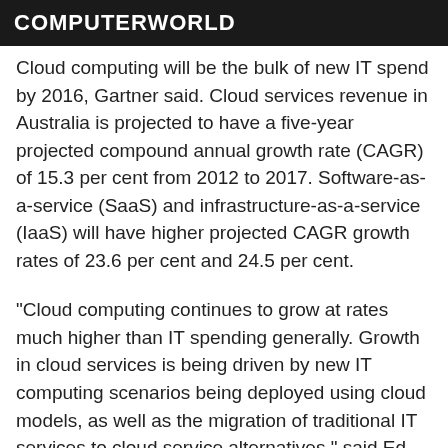COMPUTERWORLD
Cloud computing will be the bulk of new IT spend by 2016, Gartner said. Cloud services revenue in Australia is projected to have a five-year projected compound annual growth rate (CAGR) of 15.3 per cent from 2012 to 2017. Software-as-a-service (SaaS) and infrastructure-as-a-service (IaaS) will have higher projected CAGR growth rates of 23.6 per cent and 24.5 per cent.
"Cloud computing continues to grow at rates much higher than IT spending generally. Growth in cloud services is being driven by new IT computing scenarios being deployed using cloud models, as well as the migration of traditional IT services to cloud service alternatives," said Ed Anderson, research